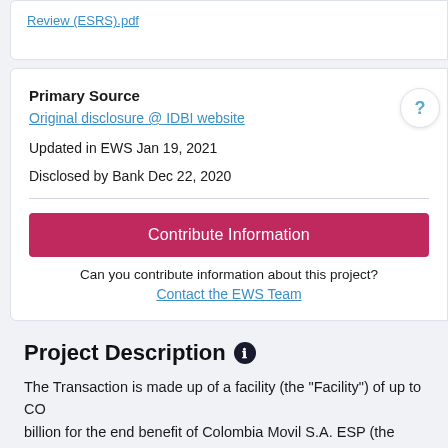Review (ESRS).pdf
Primary Source
Original disclosure @ IDBI website
Updated in EWS Jan 19, 2021
Disclosed by Bank Dec 22, 2020
Contribute Information
Can you contribute information about this project?
Contact the EWS Team
Project Description
The Transaction is made up of a facility (the "Facility") of up to CO billion for the end benefit of Colombia Movil S.A. ESP (the "Compa "Tigo"), whereby IDB Invest will issue one or more letters of credi